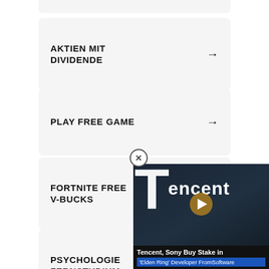AKTIEN MIT DIVIDENDE →
PLAY FREE GAME →
FORTNITE FREE V-BUCKS →
PSYCHOLOGIE FERNSTUDIUM →
TAGESGELDKONTEN MIT HOHEN ZINSEN →
[Figure (screenshot): Video overlay showing Tencent logo and headline: Tencent, Sony Buy Stake in 'Elden Ring' Developer FromSoftware]